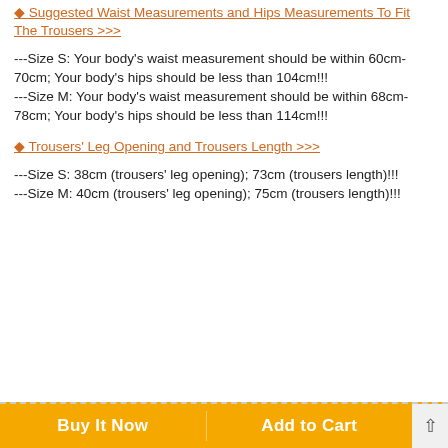◆ Suggested Waist Measurements and Hips Measurements To Fit The Trousers >>>
---Size S: Your body's waist measurement should be within 60cm-70cm; Your body's hips should be less than 104cm!!! ---Size M: Your body's waist measurement should be within 68cm-78cm; Your body's hips should be less than 114cm!!!
◆ Trousers' Leg Opening and Trousers Length >>>
---Size S: 38cm (trousers' leg opening); 73cm (trousers length)!!! ---Size M: 40cm (trousers' leg opening); 75cm (trousers length)!!!
Buy It Now   Add to Cart